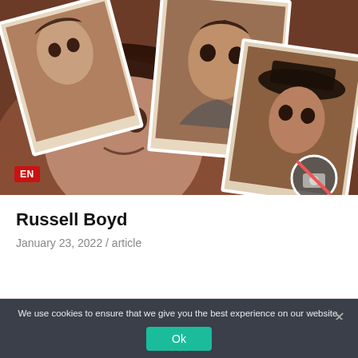[Figure (photo): Sepia-toned collage of multiple old photographs showing faces: a young girl in the foreground, a boy in the top-center, a person in a hat on the right, and another portrait on the left. An 'EN' language badge is overlaid in the bottom-left corner, and a circular no-photography icon appears in the bottom-right.]
Russell Boyd
January 23, 2022 / article
We use cookies to ensure that we give you the best experience on our website. If you continue to use this site we will assume that you are happy with it.